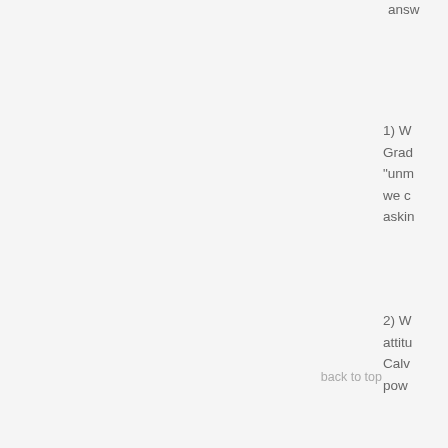answ
1) W
Grad
"unm
we c
askin
2) W
attitu
Calv
pow
back to top
3) Th
circ
point
semi
Once
some
disin
Bill C
I me